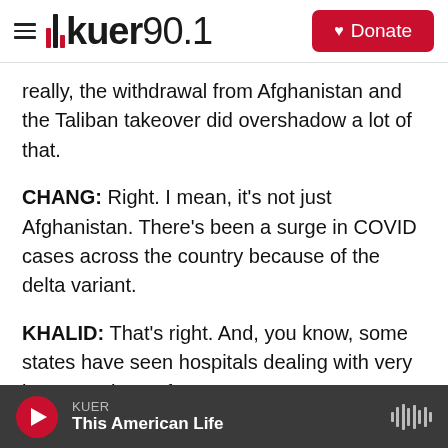KUER 90.1 | Donate
really, the withdrawal from Afghanistan and the Taliban takeover did overshadow a lot of that.
CHANG: Right. I mean, it's not just Afghanistan. There's been a surge in COVID cases across the country because of the delta variant.
KHALID: That's right. And, you know, some states have seen hospitals dealing with very large numbers of COVID cases, more young people contracting the virus as schools have begun to reopen. And this is particularly
KUER | This American Life